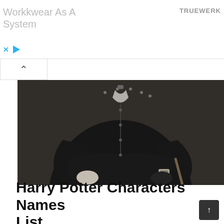[Figure (screenshot): Advertisement banner with text 'Workwear As A System' in grey, brand name 'TRUEWERK' on the right, and control icons (X and play button) at bottom left.]
[Figure (photo): Black and white photo of a person dressed in all black with arms crossed, holding a wand, wearing fingerless gloves and a watch. Likely a Harry Potter character.]
Harry Potter Characters Names List